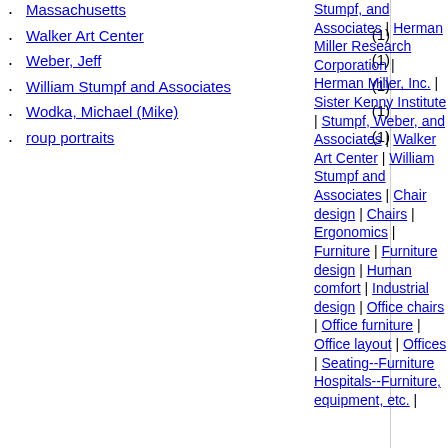Massachusetts
Walker Art Center (1)
Weber, Jeff (1)
William Stumpf and Associates (1)
Wodka, Michael (Mike) (1)
roup portraits (1)
Stumpf, and Associates | Herman Miller Research Corporation | Herman Miller, Inc. | Sister Kenny Institute | Stumpf, Weber, and Associates | Walker Art Center | William Stumpf and Associates | Chair design | Chairs | Ergonomics | Furniture | Furniture design | Human comfort | Industrial design | Office chairs | Office furniture | Office layout | Offices | Seating--Furniture Hospitals--Furniture, equipment, etc. |